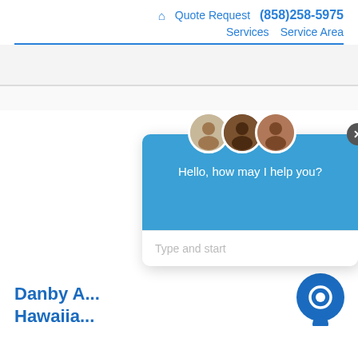🏠 Quote Request (858)258-5975 | Services | Service Area
[Figure (screenshot): Chat popup widget with three agent avatars, blue header saying 'Hello, how may I help you?' and a text input placeholder 'Type and start', with a close button and chat bubble icon]
Danby A... Hawaiia...